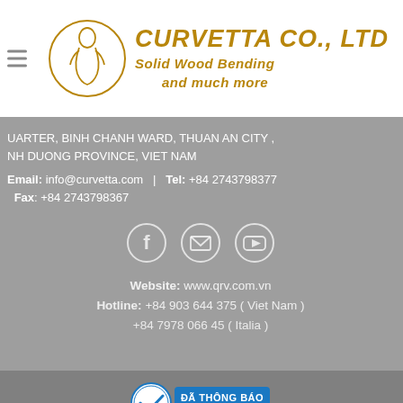[Figure (logo): Curvetta Co., Ltd logo with circular emblem and brand name 'CURVETTA CO., LTD Solid Wood Bending and much more']
QUARTER, BINH CHANH WARD, THUAN AN CITY , BINH DUONG PROVINCE, VIET NAM
Email: info@curvetta.com | Tel: +84 2743798377
Fax: +84 2743798367
[Figure (other): Social media icons: Facebook, Email, YouTube]
Website: www.qrv.com.vn
Hotline: +84 903 644 375 ( Viet Nam )
+84 7978 066 45 ( Italia )
[Figure (logo): Da Thong Bao Bo Cong Thuong certification badge]
Copyright By 2022 © CURVETTA CO., LTD